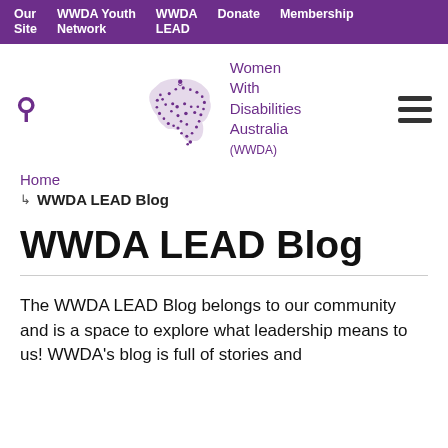Our Site | WWDA Youth Network | WWDA LEAD | Donate | Membership
[Figure (logo): Women With Disabilities Australia (WWDA) logo with purple Australia map silhouette and text]
Home
↳ WWDA LEAD Blog
WWDA LEAD Blog
The WWDA LEAD Blog belongs to our community and is a space to explore what leadership means to us! WWDA's blog is full of stories and